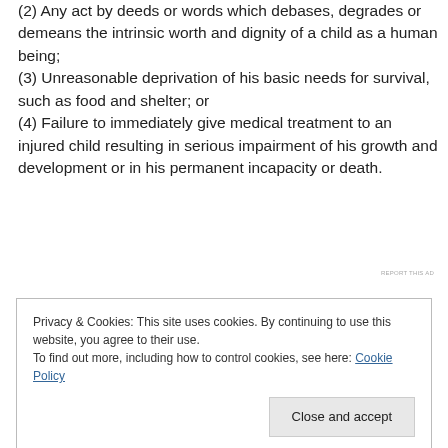(2) Any act by deeds or words which debases, degrades or demeans the intrinsic worth and dignity of a child as a human being; (3) Unreasonable deprivation of his basic needs for survival, such as food and shelter; or (4) Failure to immediately give medical treatment to an injured child resulting in serious impairment of his growth and development or in his permanent incapacity or death.
REPORT THIS AD
Privacy & Cookies: This site uses cookies. By continuing to use this website, you agree to their use. To find out more, including how to control cookies, see here: Cookie Policy
Close and accept